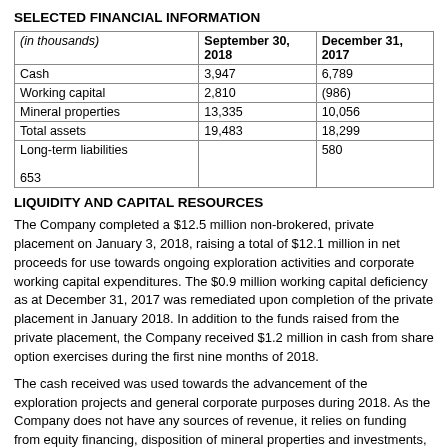SELECTED FINANCIAL INFORMATION
| (in thousands) | September 30, 2018 | December 31, 2017 |
| --- | --- | --- |
| Cash | 3,947 | 6,789 |
| Working capital | 2,810 | (986) |
| Mineral properties | 13,335 | 10,056 |
| Total assets | 19,483 | 18,299 |
| Long-term liabilities | 653 | 580 |
LIQUIDITY AND CAPITAL RESOURCES
The Company completed a $12.5 million non-brokered, private placement on January 3, 2018, raising a total of $12.1 million in net proceeds for use towards ongoing exploration activities and corporate working capital expenditures. The $0.9 million working capital deficiency as at December 31, 2017 was remediated upon completion of the private placement in January 2018.   In addition to the funds raised from the private placement, the Company received $1.2 million in cash from share option exercises during the first nine months of 2018.
The cash received was used towards the advancement of the exploration projects and general corporate purposes during 2018. As the Company does not have any sources of revenue, it relies on funding from equity financing, disposition of mineral properties and investments, or short-term credit facilities to meet its existing obligations, commitments, and to fund ongoing exploration. The Company does not own the majority of its exploration capital...